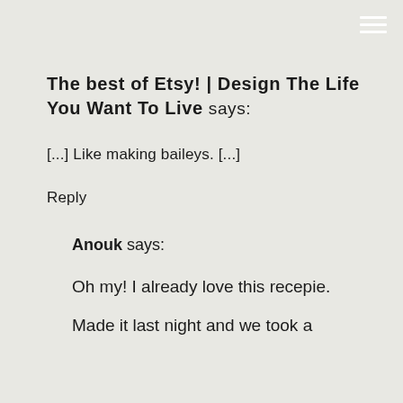The best of Etsy! | Design The Life You Want To Live says:
[...] Like making baileys. [...]
Reply
Anouk says:
Oh my! I already love this recepie.
Made it last night and we took a